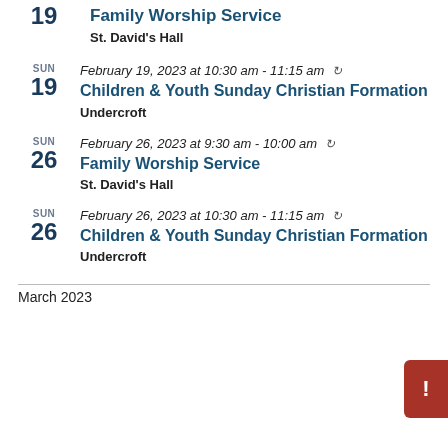19 Family Worship Service
St. David's Hall
SUN 19 February 19, 2023 at 10:30 am - 11:15 am (recurring)
Children & Youth Sunday Christian Formation
Undercroft
SUN 26 February 26, 2023 at 9:30 am - 10:00 am (recurring)
Family Worship Service
St. David's Hall
SUN 26 February 26, 2023 at 10:30 am - 11:15 am (recurring)
Children & Youth Sunday Christian Formation
Undercroft
March 2023